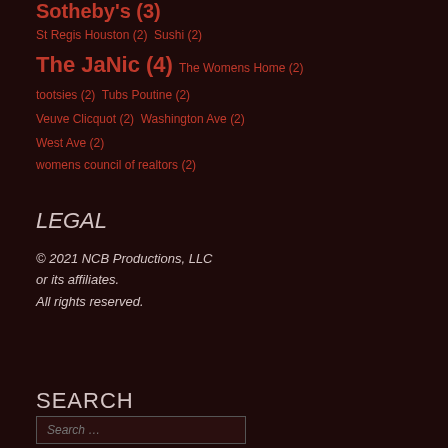Sotheby's (3)
St Regis Houston (2)  Sushi (2)
The JaNic (4)  The Womens Home (2)
tootsies (2)  Tubs Poutine (2)
Veuve Clicquot (2)  Washington Ave (2)
West Ave (2)
womens council of realtors (2)
LEGAL
© 2021 NCB Productions, LLC or its affiliates.
All rights reserved.
SEARCH